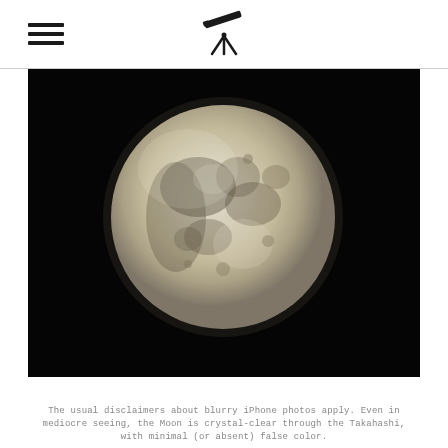[hamburger menu icon] [telescope icon]
[Figure (photo): Full moon photograph against a black night sky. The moon is large, centered-left, showing surface details including craters and maria. The image has a slightly warm tone.]
The usual disclaimers about blurry iPhone photos apply. Even in mediocre seeing, the Moon is crystal-clear through the Takahashi, with minimal (or absent) false color.